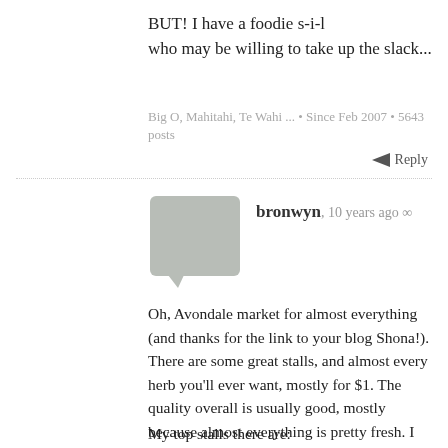BUT! I have a foodie s-i-l who may be willing to take up the slack...
Big O, Mahitahi, Te Wahi ... • Since Feb 2007 • 5643 posts
Reply
bronwyn, 10 years ago ∞
Oh, Avondale market for almost everything (and thanks for the link to your blog Shona!). There are some great stalls, and almost every herb you'll ever want, mostly for $1. The quality overall is usually good, mostly because almost everything is pretty fresh. I really feel for those of you that live too far away from it to go regularly, it's really one of my favourite places in Auckland. Saying that, do try not to go between the peak time of 9 and 11am when it is super busy. Although it officially finishes at noon, you're usually pretty OK until about 1.30pm.
My top stalls there are: